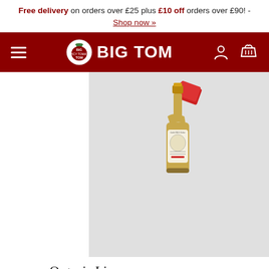Free delivery on orders over £25 plus £10 off orders over £90! - Shop now »
[Figure (logo): Big Tom brand logo with navigation bar on dark red background, hamburger menu on left, circular Big Tom logo and BIG TOM text in center, person and basket icons on right]
[Figure (photo): A bottle of Organic Lime & Chilli Zinger Shot with gold cap and label, displayed on light grey background]
Organic Lime & Chilli Zinger Shot
6 x 750 ★★★★★